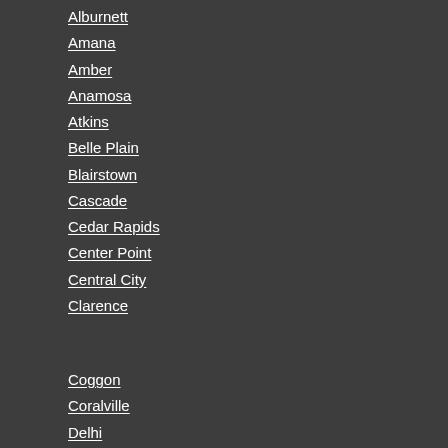Alburnett
Amana
Amber
Anamosa
Atkins
Belle Plain
Blairstown
Cascade
Cedar Rapids
Center Point
Central City
Clarence
Coggon
Coralville
Delhi
Dyersville
Ely
Hiawatha
Hills
Homestead
Hopkinton